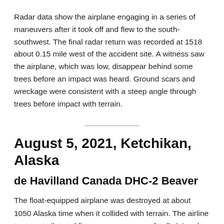Radar data show the airplane engaging in a series of maneuvers after it took off and flew to the south-southwest. The final radar return was recorded at 1518 about 0.15 mile west of the accident site. A witness saw the airplane, which was low, disappear behind some trees before an impact was heard. Ground scars and wreckage were consistent with a steep angle through trees before impact with terrain.
August 5, 2021, Ketchikan, Alaska
de Havilland Canada DHC-2 Beaver
The float-equipped airplane was destroyed at about 1050 Alaska time when it collided with terrain. The airline transport pilot and five passengers were fatally injured